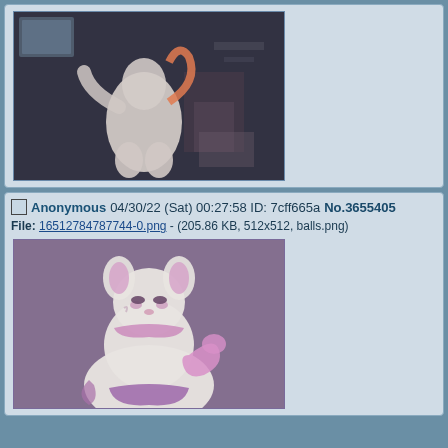[Figure (illustration): 3D rendered furry/anthro character from behind in a dark indoor scene]
Anonymous 04/30/22 (Sat) 00:27:58 ID: 7cff665a No.3655405
File: 16512784787744-0.png - (205.86 KB, 512x512, balls.png)
[Figure (illustration): Digital illustration of a white and pink anthro mouse/rodent character]